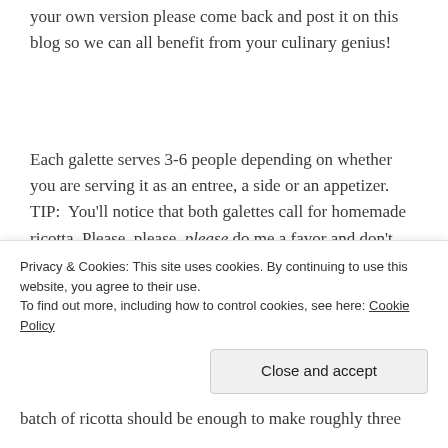your own version please come back and post it on this blog so we can all benefit from your culinary genius!
Each galette serves 3-6 people depending on whether you are serving it as an entree, a side or an appetizer. TIP:  You'll notice that both galettes call for homemade ricotta. Please, please, please do me a favor and don't buy that pasty store-bought stuff. Click on the link provided
Privacy & Cookies: This site uses cookies. By continuing to use this website, you agree to their use.
To find out more, including how to control cookies, see here: Cookie Policy
Close and accept
batch of ricotta should be enough to make roughly three